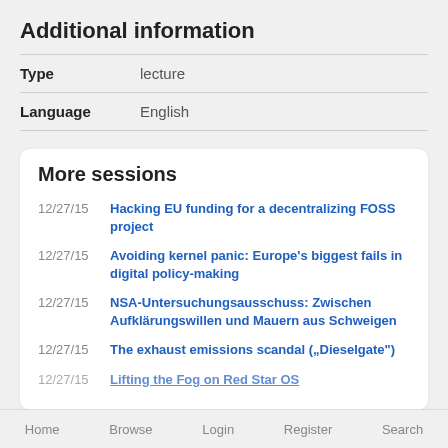Additional information
| Field | Value |
| --- | --- |
| Type | lecture |
| Language | English |
More sessions
12/27/15 Hacking EU funding for a decentralizing FOSS project
12/27/15 Avoiding kernel panic: Europe’s biggest fails in digital policy-making
12/27/15 NSA-Untersuchungsausschuss: Zwischen Aufklärungswillen und Mauern aus Schweigen
12/27/15 The exhaust emissions scandal („Dieselgate“)
12/27/15 Lifting the Fog on Red Star OS
Home   Browse   Login   Register   Search